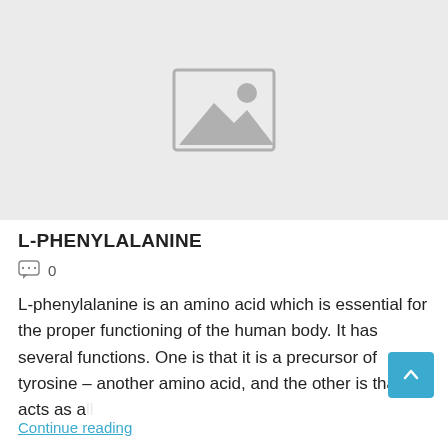[Figure (photo): Placeholder image with mountain and sun icon on a light grey background]
L-PHENYLALANINE
0
L-phenylalanine is an amino acid which is essential for the proper functioning of the human body. It has several functions. One is that it is a precursor of tyrosine – another amino acid, and the other is that it acts as a...